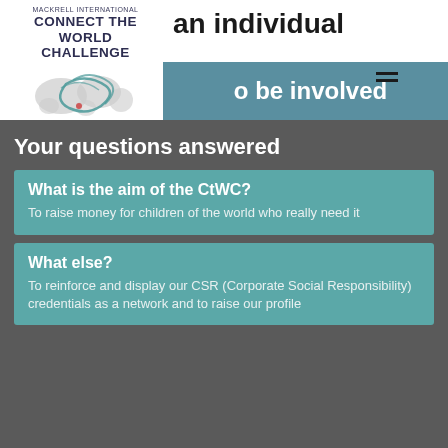[Figure (logo): Mackrell International Connect The World Challenge logo with world map graphic]
an individual
be involved
Your questions answered
What is the aim of the CtWC?
To raise money for children of the world who really need it
What else?
To reinforce and display our CSR (Corporate Social Responsibility) credentials as a network and to raise our profile